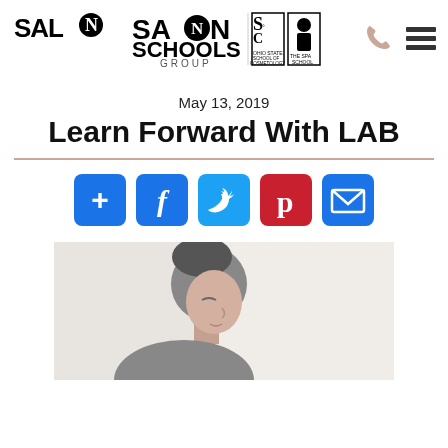[Figure (logo): Salon Schools Group logo with Ohio State School of Cosmetology and The Spa School logos]
[Figure (infographic): Phone icon and hamburger menu icon in header]
May 13, 2019
Learn Forward With LAB
[Figure (infographic): Social share buttons: Add (+), Facebook, Twitter, Pinterest, Email]
[Figure (photo): Side profile photo of a person receiving a facial or spa treatment, eyes closed, light background]